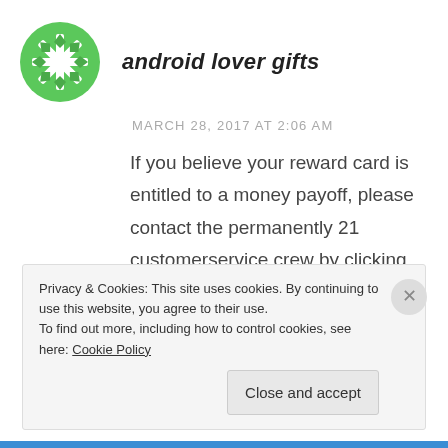[Figure (logo): Green snowflake/asterisk avatar icon for android lover gifts]
android lover gifts
MARCH 28, 2017 AT 2:06 AM
If you believe your reward card is entitled to a money payoff, please contact the permanently 21 customerservice crew by clicking below, and be sure to mention their state in which you reside, where
Privacy & Cookies: This site uses cookies. By continuing to use this website, you agree to their use.
To find out more, including how to control cookies, see here: Cookie Policy
Close and accept